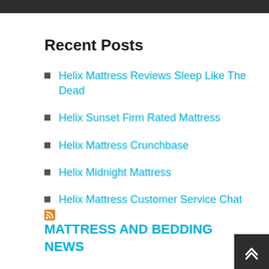Recent Posts
Helix Mattress Reviews Sleep Like The Dead
Helix Sunset Firm Rated Mattress
Helix Mattress Crunchbase
Helix Midnight Mattress
Helix Mattress Customer Service Chat
MATTRESS AND BEDDING NEWS